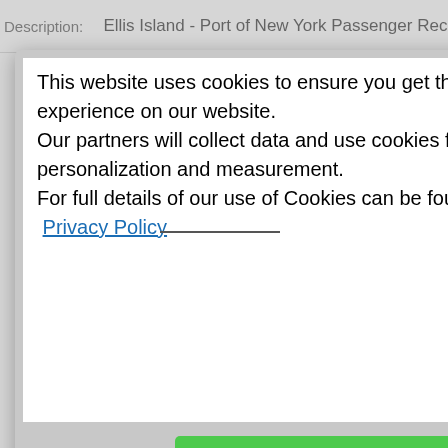Description: Ellis Island - Port of New York Passenger Records
This website uses cookies to ensure you get the best experience on our website.
Our partners will collect data and use cookies for ad personalization and measurement.
For full details of our use of Cookies can be found in our Privacy Policy
I accept